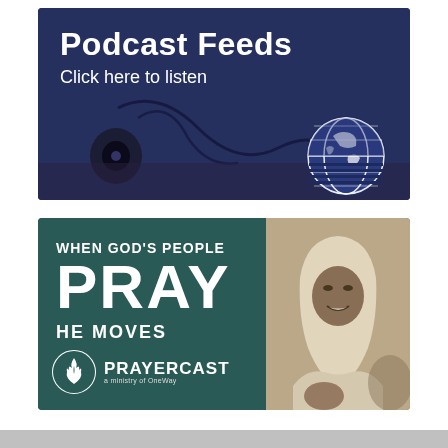[Figure (illustration): Podcast Feeds banner with dark blue background showing earbuds/headphones and a globe icon. Text reads: 'Podcast Feeds' and 'Click here to listen']
[Figure (illustration): Prayercast banner with dark teal background showing a smiling woman in a white headscarf on the right half. Text reads: 'WHEN GOD'S PEOPLE PRAY HE MOVES' with Prayercast logo (a ministry of OneWay)]